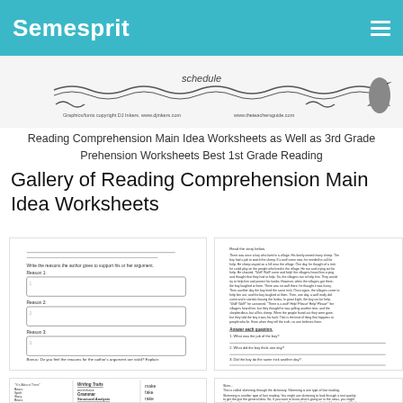Semesprit
[Figure (illustration): Partial view of a worksheet showing a decorative border with text 'schedule', copyright line for DJ Inkers and theteachersguide.com, and a bird silhouette on the right]
Reading Comprehension Main Idea Worksheets as Well as 3rd Grade Prehension Worksheets Best 1st Grade Reading
Gallery of Reading Comprehension Main Idea Worksheets
[Figure (screenshot): Thumbnail of a reading comprehension worksheet with lines, text labels 'Reason 1', 'Reason 2', 'Reason 3', text boxes, and a bottom note]
[Figure (screenshot): Thumbnail of a reading passage worksheet about a boy and sheep with comprehension questions]
[Figure (screenshot): Thumbnail of a worksheet with three columns showing writing traits categories including Grammar, Structural Analysis, Mechanics]
[Figure (screenshot): Thumbnail of a reading skills worksheet with text about skimming through a dictionary and skimming vs scanning]